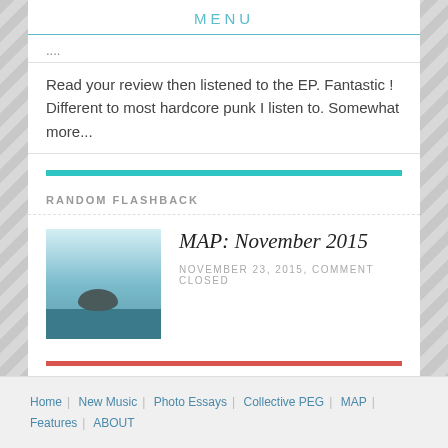MENU
....
Read your review then listened to the EP. Fantastic ! Different to most hardcore punk I listen to. Somewhat more...
RANDOM FLASHBACK
[Figure (photo): Thumbnail photo of a rocky sea stack / small island in calm water with sky, used as article thumbnail for MAP: November 2015]
MAP: November 2015
NOVEMBER 23, 2015, COMMENT CLOSED
Home | New Music | Photo Essays | Collective PEG | MAP | Features | ABOUT